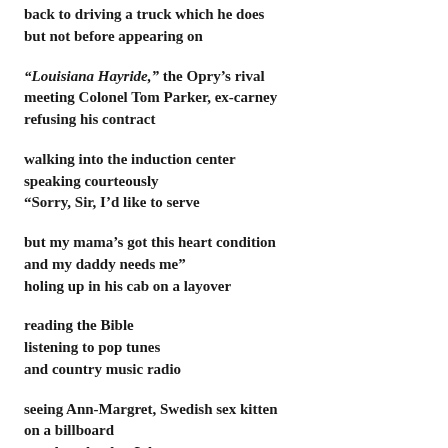back to driving a truck which he does
but not before appearing on
“Louisiana Hayride,” the Opry’s rival
meeting Colonel Tom Parker, ex-carney
refusing his contract
walking into the induction center
speaking courteously
“Sorry, Sir, I’d like to serve
but my mama’s got this heart condition
and my daddy needs me”
holing up in his cab on a layover
reading the Bible
listening to pop tunes
and country music radio
seeing Ann-Margret, Swedish sex kitten
on a billboard
on a long haul to LA